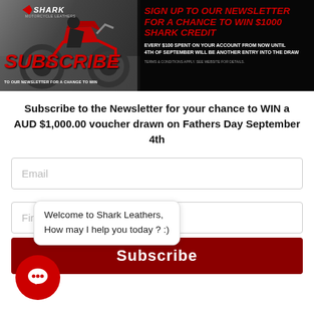[Figure (infographic): Shark motorcycle leathers newsletter subscription banner with motorcycle image on left and promotional text on right. Subscribe text in red on left side, promotional headline in red on right side.]
Subscribe to the Newsletter for your chance to WIN a AUD $1,000.00 voucher drawn on Fathers Day September 4th
Email
First Name
Welcome to Shark Leathers,
How may I help you today ? :)
Subscribe